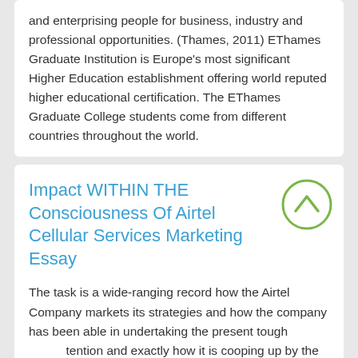and enterprising people for business, industry and professional opportunities. (Thames, 2011) EThames Graduate Institution is Europe's most significant Higher Education establishment offering world reputed higher educational certification. The EThames Graduate College students come from different countries throughout the world.
Impact WITHIN THE Consciousness Of Airtel Cellular Services Marketing Essay
The task is a wide-ranging record how the Airtel Company markets its strategies and how the company has been able in undertaking the present tough attention and exactly how it is cooping up by the tions of the grade of its products. The statement s with the history of the products and the benefits of the Airtel Company. The project aims at understanding the marketing strategies at Airtel and